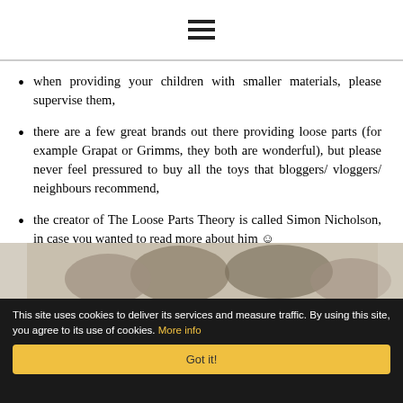☰ (hamburger menu icon)
when providing your children with smaller materials, please supervise them,
there are a few great brands out there providing loose parts (for example Grapat or Grimms, they both are wonderful), but please never feel pressured to buy all the toys that bloggers/ vloggers/ neighbours recommend,
the creator of The Loose Parts Theory is called Simon Nicholson, in case you wanted to read more about him 🙂
[Figure (photo): Partial photo of what appears to be natural loose parts materials (walnuts or similar objects) on a light background]
This site uses cookies to deliver its services and measure traffic. By using this site, you agree to its use of cookies. More info
Got it!